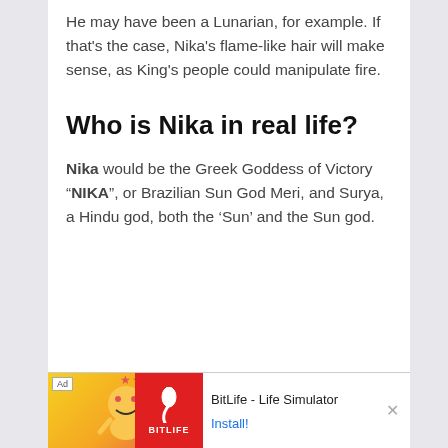He may have been a Lunarian, for example. If that's the case, Nika's flame-like hair will make sense, as King's people could manipulate fire.
Who is Nika in real life?
Nika would be the Greek Goddess of Victory "NIKA", or Brazilian Sun God Meri, and Surya, a Hindu god, both the 'Sun' and the Sun god.
[Figure (screenshot): Advertisement banner for BitLife - Life Simulator app with install button]